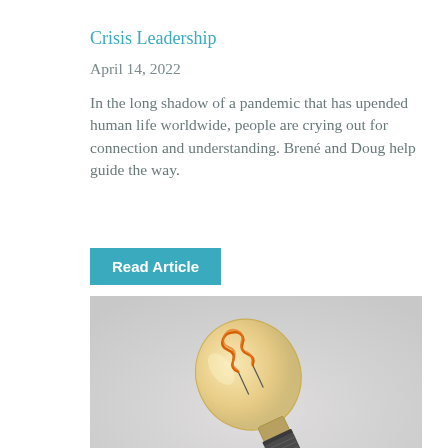Crisis Leadership
April 14, 2022
In the long shadow of a pandemic that has upended human life worldwide, people are crying out for connection and understanding. Brené and Doug help guide the way.
Read Article
[Figure (photo): A vintage Edison-style incandescent light bulb lying on its side on a light gray surface, showing the orange spiral filament through the amber glass globe, with a dark metal screw base visible.]